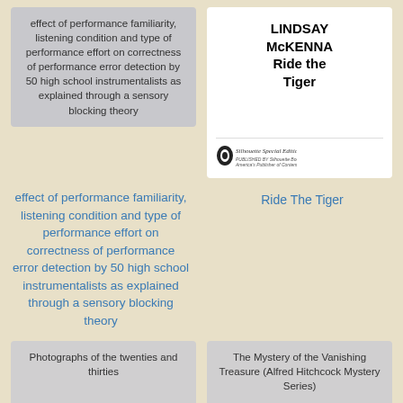[Figure (illustration): Gray book cover card with text about effect of performance familiarity]
[Figure (illustration): White book cover for 'Ride the Tiger' by Lindsay McKenna, Silhouette Special Edition]
effect of performance familiarity, listening condition and type of performance effort on correctness of performance error detection by 50 high school instrumentalists as explained through a sensory blocking theory
Ride The Tiger
[Figure (illustration): Gray book cover card with text 'Photographs of the twenties and thirties']
[Figure (illustration): Gray book cover card with text 'The Mystery of the Vanishing Treasure (Alfred Hitchcock Mystery Series)']